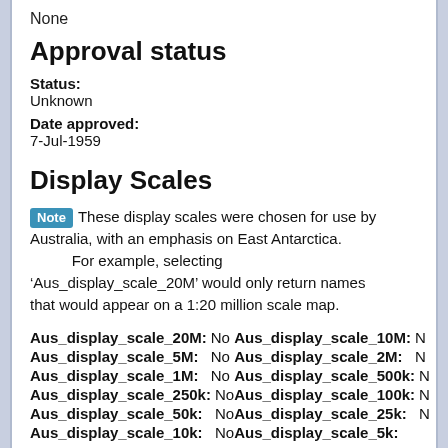None
Approval status
Status: Unknown
Date approved: 7-Jul-1959
Display Scales
Note These display scales were chosen for use by Australia, with an emphasis on East Antarctica. For example, selecting 'Aus_display_scale_20M' would only return names that would appear on a 1:20 million scale map.
Aus_display_scale_20M: No | Aus_display_scale_10M: N
Aus_display_scale_5M: No | Aus_display_scale_2M: N
Aus_display_scale_1M: No | Aus_display_scale_500k: N
Aus_display_scale_250k: No | Aus_display_scale_100k: N
Aus_display_scale_50k: No | Aus_display_scale_25k: N
Aus_display_scale_10k: No | Aus_display_scale_5k: